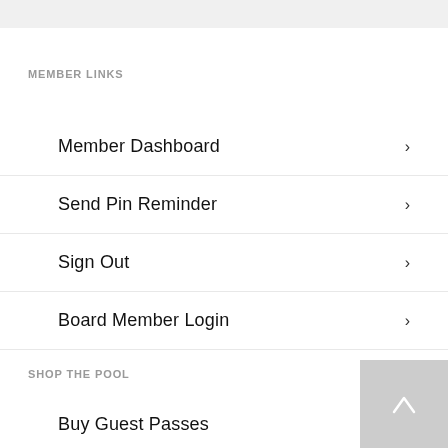MEMBER LINKS
Member Dashboard
Send Pin Reminder
Sign Out
Board Member Login
SHOP THE POOL
Buy Guest Passes